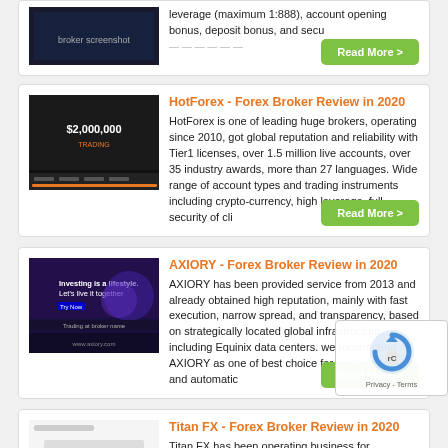[Figure (screenshot): Partial card at top, cut off, showing text about leverage (maximum 1:888), account opening bonus, deposit bonus, and security of funds with a green Read More button]
leverage (maximum 1:888), account opening bonus, deposit bonus, and secu... (cut off)
[Figure (screenshot): Read More green button overlaid on top card]
[Figure (screenshot): HotForex broker website screenshot showing $2,000,000 text on dark background]
HotForex - Forex Broker Review in 2020
HotForex is one of leading huge brokers, operating since 2010, got global reputation and reliability with Tier1 licenses, over 1.5 million live accounts, over 35 industry awards, more than 27 languages. Wide range of account types and trading instruments including crypto-currency, high leverage, full security of cli...
[Figure (screenshot): Read More green button for HotForex]
[Figure (screenshot): AXIORY broker website screenshot with purple/dark theme showing Investing is a lifestyle text]
AXIORY - Forex Broker Review in 2020
AXIORY has been provided service from 2013 and already obtained high reputation, mainly with fast execution, narrow spread, and transparency, based on strategically located global infrastructure including Equinix data centers. we recommend AXIORY as one of best choice for scalping traders and automatic...
[Figure (screenshot): Read More green button for AXIORY]
[Figure (screenshot): Titan FX broker website screenshot]
Titan FX - Forex Broker Review in 2020
Titan FX has been operating business for... and expanding share with fast execution, low
[Figure (other): reCAPTCHA widget overlay showing Google reCAPTCHA logo with Privacy - Terms text]